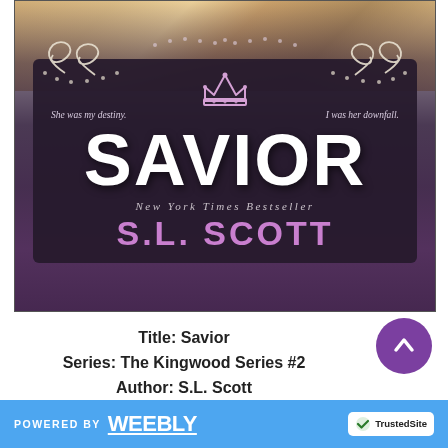[Figure (illustration): Book cover of 'Savior' by S.L. Scott, New York Times Bestseller. Dark purple/charcoal background with decorative swirls and a pink crown. Text reads 'She was my destiny. I was her downfall.' Large white title SAVIOR, with author name S.L. Scott in pink below. Hair/figure visible at top.]
Title: Savior
Series: The Kingwood Series #2
Author: S.L. Scott
POWERED BY weebly | TrustedSite